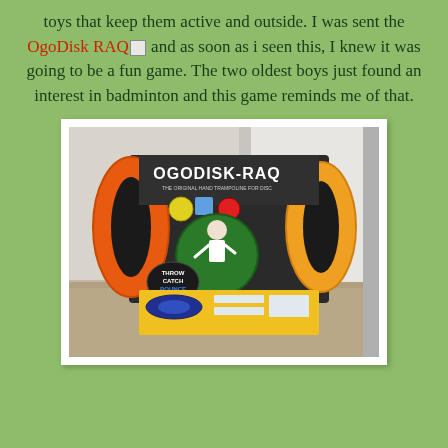toys that keep them active and outside. I was sent the OgoDisk RAQ and as soon as i seen this, I knew it was going to be a fun game. The two oldest boys just found an interest in badminton and this game reminds me of that.
[Figure (photo): Photo of OgoDisk RAQ product in its packaging — a dark box with orange disc-like handles visible on the sides, yellow box at the bottom, sitting on a floor against a wall.]